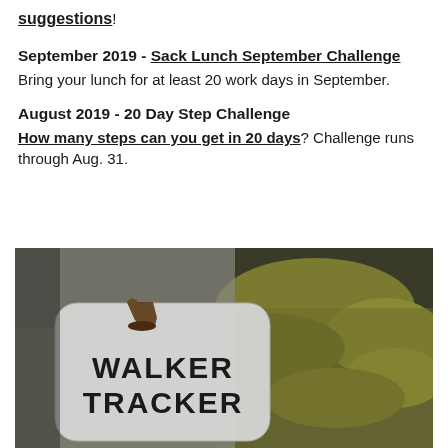suggestions!
September 2019 - Sack Lunch September Challenge
Bring your lunch for at least 20 work days in September.
August 2019 - 20 Day Step Challenge
How many steps can you get in 20 days? Challenge runs through Aug. 31.
[Figure (photo): A Walker Tracker sticker/badge with a walking shoe icon displayed against a mossy log background]